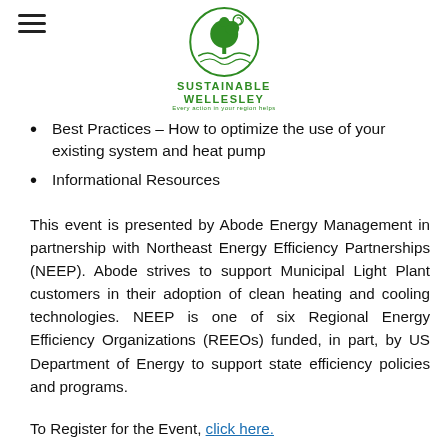[Figure (logo): Sustainable Wellesley logo with green tree and circular design, with tagline text below]
Best Practices – How to optimize the use of your existing system and heat pump
Informational Resources
This event is presented by Abode Energy Management in partnership with Northeast Energy Efficiency Partnerships (NEEP). Abode strives to support Municipal Light Plant customers in their adoption of clean heating and cooling technologies. NEEP is one of six Regional Energy Efficiency Organizations (REEOs) funded, in part, by US Department of Energy to support state efficiency policies and programs.
To Register for the Event, click here.